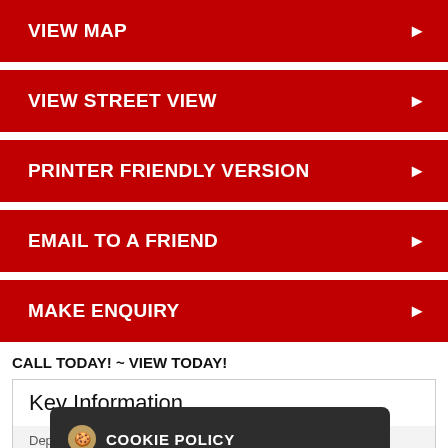VIEW MAP ▶
VIEW STREET VIEW ▶
PRINTER FRIENDLY VERSION ▶
EMAIL TO A FRIEND ▶
MAKE ENQUIRY ▶
CALL TODAY! ~ VIEW TODAY!
Key Information
|  |  |
| --- | --- |
| Deposit | £700.00 |
| Includes Rates | Yes |
| Viewable From |  |
| Available From | 01/09/21 |
[Figure (screenshot): Cookie policy dialog overlay with dark background, cookie icon, 'COOKIE POLICY' heading, text 'This site uses cookies to store information on your computer', 'Read more' link, and red OK button]